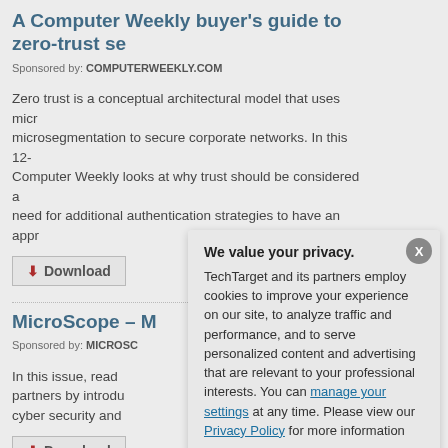A Computer Weekly buyer's guide to zero-trust se…
Sponsored by: COMPUTERWEEKLY.COM
Zero trust is a conceptual architectural model that uses micro… microsegmentation to secure corporate networks. In this 12-p… Computer Weekly looks at why trust should be considered a… need for additional authentication strategies to have an appr…
Download
MicroScope – M…
Sponsored by: MICROSC…
In this issue, read… partners by introdu… cyber security and…
Download
Why zero trust…
Sponsored by: COMPUT…
This guide provide…
[Figure (screenshot): Privacy consent modal dialog with title 'We value your privacy.' and body text about cookies and tracking, with OK and Settings buttons.]